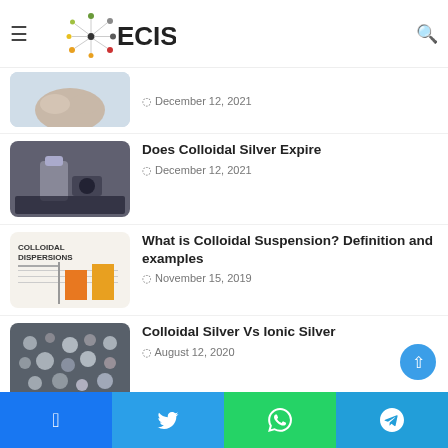ECIS
December 12, 2021
Does Colloidal Silver Expire
December 12, 2021
What is Colloidal Suspension? Definition and examples
November 15, 2019
Colloidal Silver Vs Ionic Silver
August 12, 2020
Colloidal Silver for Tooth Infection
August 5, 2020
Facebook Twitter WhatsApp Telegram